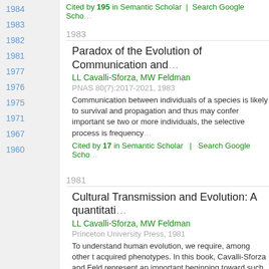Cited by 195 in Semantic Scholar | Search Google Scholar
1984
1983
1982
1981
1977
1976
1975
1971
1967
1960
1983
Paradox of the Evolution of Communication and
LL Cavalli-Sforza, MW Feldman
PNAS 80(7):2017-2021, 1983
Communication between individuals of a species is likely to survival and propagation and thus may confer important se two or more individuals, the selective process is frequency
Cited by 17 in Semantic Scholar | Search Google Scholar
1981
Cultural Transmission and Evolution: A quantitati
LL Cavalli-Sforza, MW Feldman
Princeton University Press, 1981
To understand human evolution, we require, among other t acquired phenotypes. In this book, Cavalli-Sforza and Feld represent an important beginning toward such a theory.
Cited by 766 in Semantic Scholar | Search Google Scholar